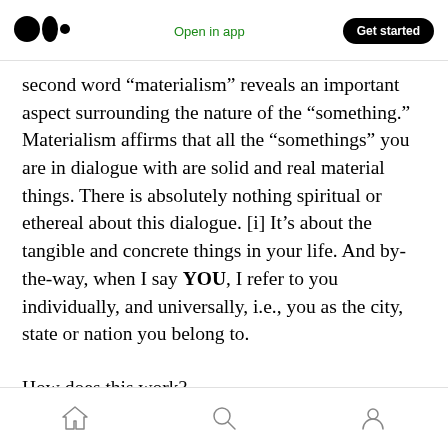Medium logo | Open in app | Get started
second word “materialism” reveals an important aspect surrounding the nature of the “something.” Materialism affirms that all the “somethings” you are in dialogue with are solid and real material things. There is absolutely nothing spiritual or ethereal about this dialogue. [i] It’s about the tangible and concrete things in your life. And by-the-way, when I say YOU, I refer to you individually, and universally, i.e., you as the city, state or nation you belong to.
How does this work?
Home | Search | Profile